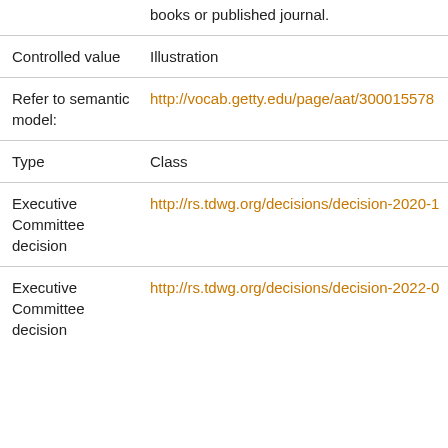| Field | Value |
| --- | --- |
|  | books or published journal. |
| Controlled value | Illustration |
| Refer to semantic model: | http://vocab.getty.edu/page/aat/300015578 |
| Type | Class |
| Executive Committee decision | http://rs.tdwg.org/decisions/decision-2020-1 |
| Executive Committee decision | http://rs.tdwg.org/decisions/decision-2022-0 |